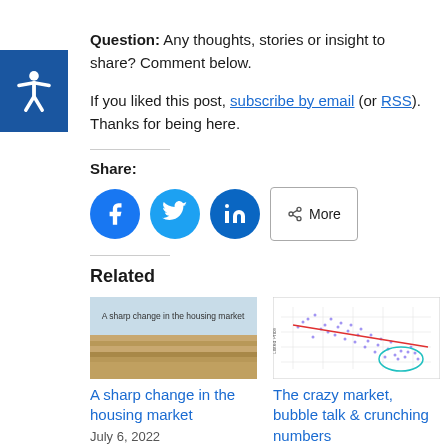Question: Any thoughts, stories or insight to share? Comment below.
If you liked this post, subscribe by email (or RSS). Thanks for being here.
Share:
[Figure (infographic): Share buttons: Facebook, Twitter, LinkedIn circles and a More button]
Related
[Figure (photo): Image with text 'A sharp change in the housing market' over a wooden table background]
A sharp change in the housing market
July 6, 2022
[Figure (scatter-plot): Scatter plot showing housing market data with a red trend line and a teal circled region]
The crazy market, bubble talk & crunching numbers